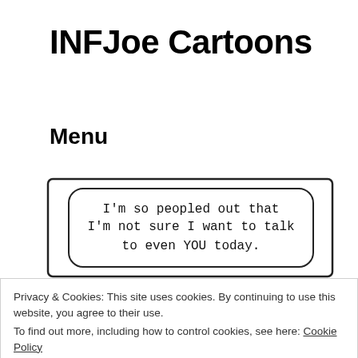INFJoe Cartoons
Menu
[Figure (illustration): Hand-drawn cartoon panel showing a speech bubble with the text: "I'm so peopled out that I'm not sure I want to talk to even YOU today." with a partial figure visible at the bottom.]
Privacy & Cookies: This site uses cookies. By continuing to use this website, you agree to their use.
To find out more, including how to control cookies, see here: Cookie Policy
Close and accept